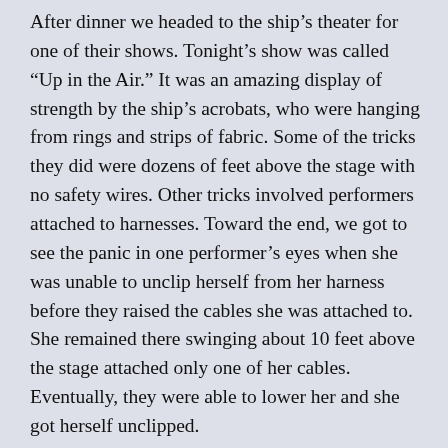After dinner we headed to the ship’s theater for one of their shows. Tonight’s show was called “Up in the Air.” It was an amazing display of strength by the ship’s acrobats, who were hanging from rings and strips of fabric. Some of the tricks they did were dozens of feet above the stage with no safety wires. Other tricks involved performers attached to harnesses. Toward the end, we got to see the panic in one performer’s eyes when she was unable to unclip herself from her harness before they raised the cables she was attached to. She remained there swinging about 10 feet above the stage attached only one of her cables. Eventually, they were able to lower her and she got herself unclipped.